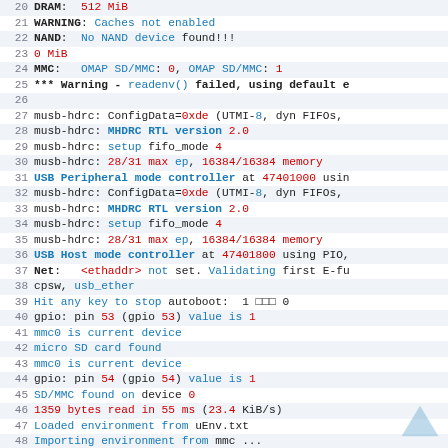[Figure (screenshot): Terminal/console output showing U-Boot bootloader log lines 20-49, with line numbers in gray, keywords in blue, values in red, and plain text in black monospace font.]